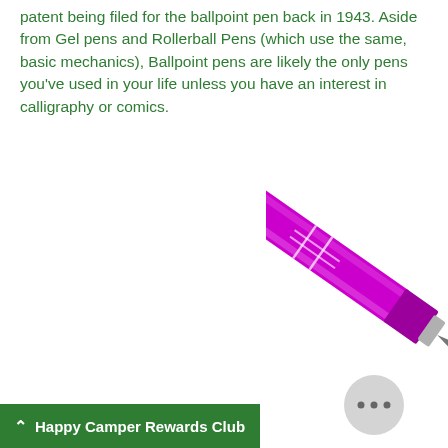patent being filed for the ballpoint pen back in 1943. Aside from Gel pens and Rollerball Pens (which use the same, basic mechanics), Ballpoint pens are likely the only pens you've used in your life unless you have an interest in calligraphy or comics.
[Figure (illustration): A purple/magenta metallic ballpoint pen shown diagonally, tip pointing down-left, with a round grey chat bubble icon near the tip]
Happy Camper Rewards Club